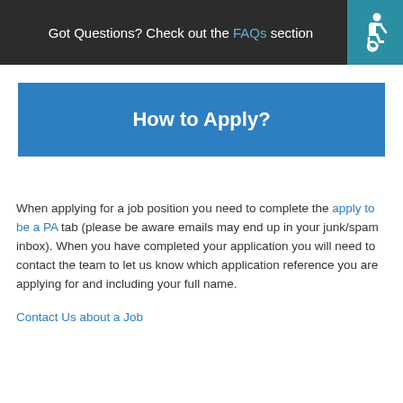Got Questions? Check out the FAQs section
How to Apply?
When applying for a job position you need to complete the apply to be a PA tab (please be aware emails may end up in your junk/spam inbox). When you have completed your application you will need to contact the team to let us know which application reference you are applying for and including your full name.
Contact Us about a Job